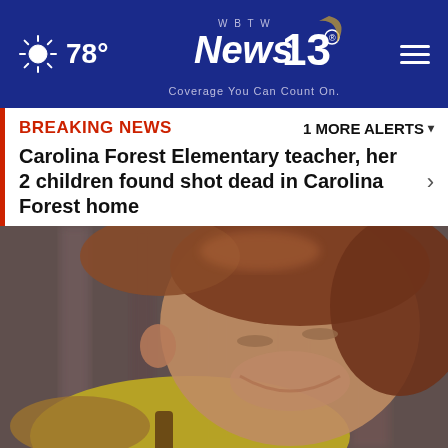78° WBTW News 13 Coverage You Can Count On.
BREAKING NEWS   1 MORE ALERTS
Carolina Forest Elementary teacher, her 2 children found shot dead in Carolina Forest home
[Figure (photo): Close-up photo of a young child with brown hair, smiling, wearing a yellow and brown striped shirt, blurred background]